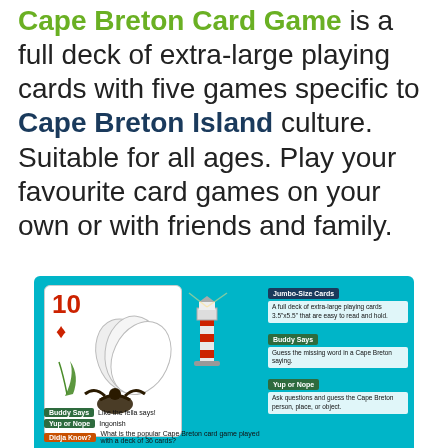Cape Breton Card Game is a full deck of extra-large playing cards with five games specific to Cape Breton Island culture. Suitable for all ages. Play your favourite card games on your own or with friends and family.
[Figure (infographic): Infographic showing the Cape Breton Card Game box with a playing card (10 of diamonds), a lighthouse illustration, an eagle, and game mode descriptions: Jumbo-Size Cards, Buddy Says, Yup or Nope, with sample prompts.]